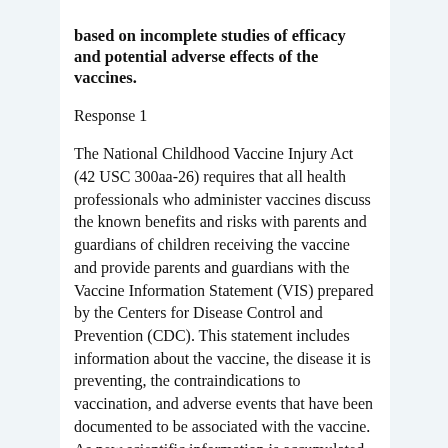based on incomplete studies of efficacy and potential adverse effects of the vaccines.
Response 1
The National Childhood Vaccine Injury Act (42 USC 300aa-26) requires that all health professionals who administer vaccines discuss the known benefits and risks with parents and guardians of children receiving the vaccine and provide parents and guardians with the Vaccine Information Statement (VIS) prepared by the Centers for Disease Control and Prevention (CDC). This statement includes information about the vaccine, the disease it is preventing, the contraindications to vaccination, and adverse events that have been documented to be associated with the vaccine. As new scientific information is accumulated regarding a vaccine, the VIS may be changed and there is a public comment period for each new or revised VIS. The specific requirements for informed consent are determined by